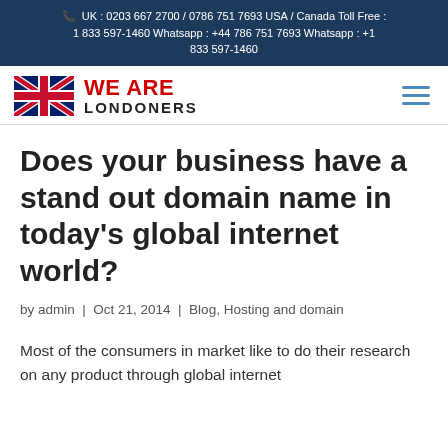UK : 0203 667 2700 / 0786 751 7693 USA / Canada Toll Free : 1 833 597-1460 Whatsapp : +44 786 751 7693 Whatsapp : +1 833 597-1460
[Figure (logo): We Are Londoners logo with UK flag and red text]
Does your business have a stand out domain name in today's global internet world?
by admin | Oct 21, 2014 | Blog, Hosting and domain
Most of the consumers in market like to do their research on any product through global internet